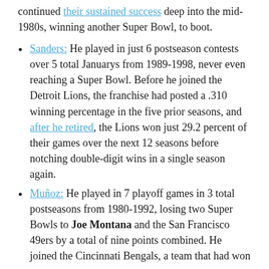continued their sustained success deep into the mid-1980s, winning another Super Bowl, to boot.
Sanders: He played in just 6 postseason contests over 5 total Januarys from 1989-1998, never even reaching a Super Bowl. Before he joined the Detroit Lions, the franchise had posted a .310 winning percentage in the five prior seasons, and after he retired, the Lions won just 29.2 percent of their games over the next 12 seasons before notching double-digit wins in a single season again.
Muñoz: He played in 7 playoff games in 3 total postseasons from 1980-1992, losing two Super Bowls to Joe Montana and the San Francisco 49ers by a total of nine points combined. He joined the Cincinnati Bengals, a team that had won a...